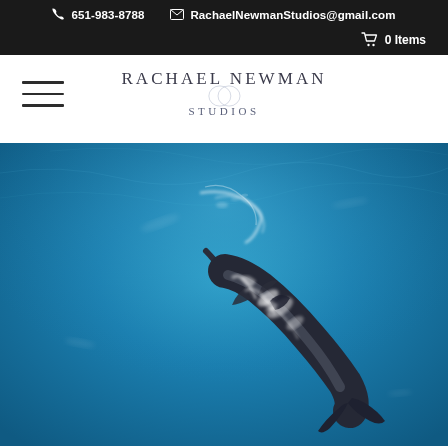651-983-8788   RachaelNewmanStudios@gmail.com   0 Items
RACHAEL NEWMAN
STUDIOS
[Figure (photo): Aerial overhead photograph of a dolphin swimming in vivid blue ocean water, viewed from above. The dolphin appears dark grey/black with lighter markings, surrounded by white foam/splash patterns on the bright blue water surface.]